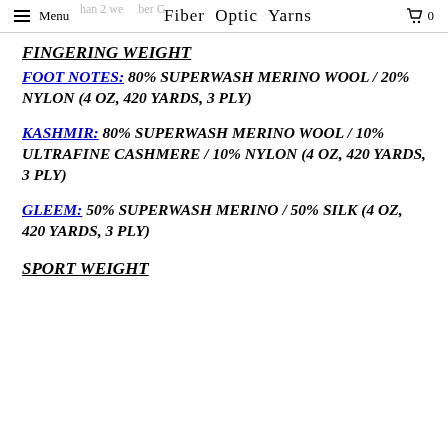Menu | Fiber Optic Yarns | 0
FINGERING WEIGHT
FOOT NOTES: 80% SUPERWASH MERINO WOOL / 20% NYLON (4 OZ, 420 YARDS, 3 PLY)
KASHMIR: 80% SUPERWASH MERINO WOOL / 10% ULTRAFINE CASHMERE / 10% NYLON (4 OZ, 420 YARDS, 3 PLY)
GLEEM: 50% SUPERWASH MERINO / 50% SILK (4 OZ, 420 YARDS, 3 PLY)
SPORT WEIGHT